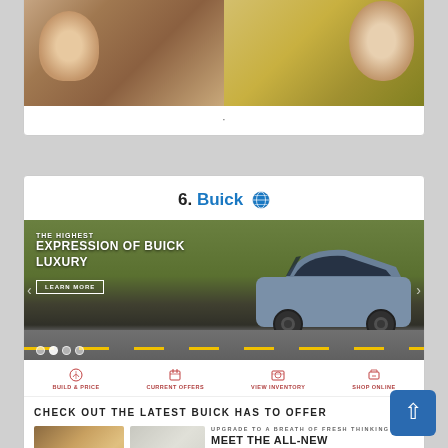[Figure (photo): Two partially visible screenshots: left shows couple in a car (romantic scene), right shows woman driving. Part of a top card.]
[Figure (screenshot): Buick website screenshot showing hero banner with SUV on road, tagline 'THE HIGHEST EXPRESSION OF BUICK LUXURY', navigation icons (Build & Price, Current Offers, View Inventory, Shop Online), and a section reading 'CHECK OUT THE LATEST BUICK HAS TO OFFER' with 'MEET THE ALL-NEW' text.]
6. Buick